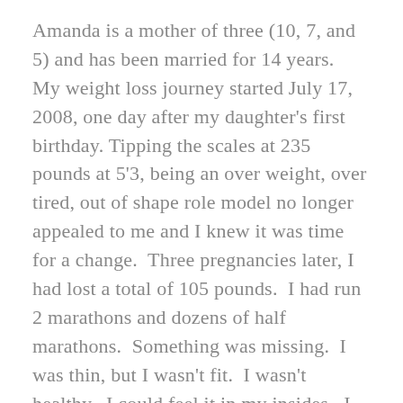Amanda is a mother of three (10, 7, and 5) and has been married for 14 years.  My weight loss journey started July 17, 2008, one day after my daughter's first birthday. Tipping the scales at 235 pounds at 5'3, being an over weight, over tired, out of shape role model no longer appealed to me and I knew it was time for a change.  Three pregnancies later, I had lost a total of 105 pounds.  I had run 2 marathons and dozens of half marathons.  Something was missing.  I was thin, but I wasn't fit.  I wasn't healthy.  I could feel it in my insides.  I was 136